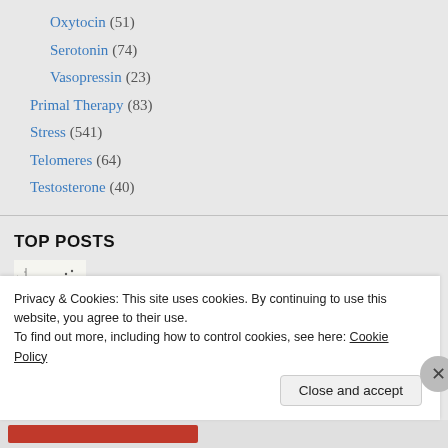Oxytocin (51)
Serotonin (74)
Vasopressin (23)
Primal Therapy (83)
Stress (541)
Telomeres (64)
Testosterone (40)
TOP POSTS
[Figure (other): Small chart thumbnail for Garlic vs. broccoli post]
Garlic vs. broccoli
[Figure (other): Grid of purple/dark colored cell images for Sulforaphane and hair loss post]
Sulforaphane and hair loss
Privacy & Cookies: This site uses cookies. By continuing to use this website, you agree to their use.
To find out more, including how to control cookies, see here: Cookie Policy
Close and accept